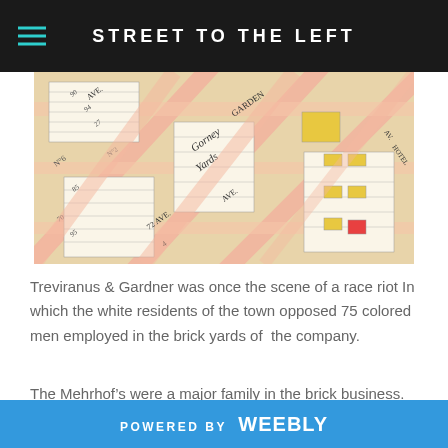STREET TO THE LEFT
[Figure (map): Vintage city map showing street grid with pink/salmon colored blocks and yellow highlighted parcels, with handwritten-style street labels and lot numbers including references to avenues and yards.]
Treviranus & Gardner was once the scene of a race riot In which the white residents of the town opposed 75 colored men employed in the brick yards of  the company.
The Mehrhof’s were a major family in the brick business. Not only did they have the Mehrhof Brick Company at the foot of Mehrhof
POWERED BY weebly